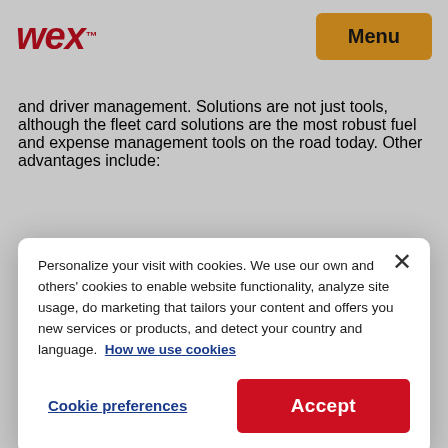WEX Menu
and driver management. Solutions are not just tools, although the fleet card solutions are the most robust fuel and expense management tools on the road today. Other advantages include:
[Figure (screenshot): Cookie consent modal dialog with close button (×), text about cookie usage, 'How we use cookies' link, 'Cookie preferences' button, and 'Accept' button]
and fleets.